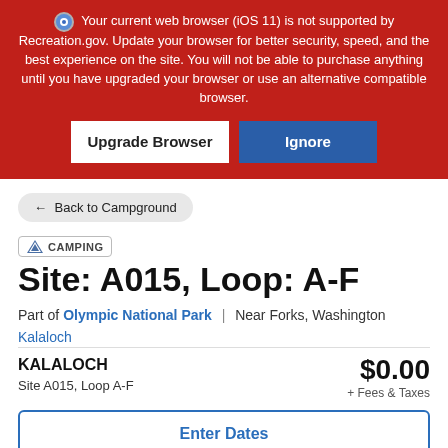Your current web browser (iOS 11) is not supported by Recreation.gov. Update your browser for better security, speed, and the best experience on the site. You will not be able to purchase anything until you have upgraded your browser or use an alternative compatible browser.
Upgrade Browser
Ignore
← Back to Campground
CAMPING
Site: A015, Loop: A-F
Part of Olympic National Park | Near Forks, Washington
Kalaloch
KALALOCH
$0.00
Site A015, Loop A-F
+ Fees & Taxes
Enter Dates